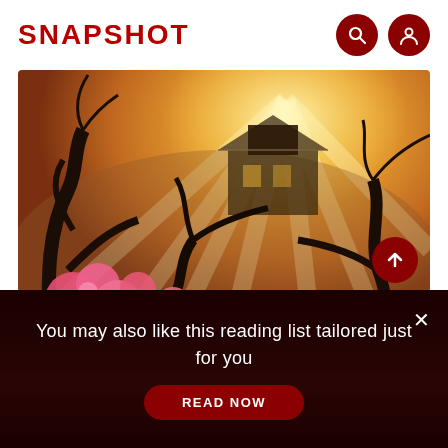SNAPSHOT
[Figure (photo): Scenic photo of cherry/plum blossoms in pink with dark branches in foreground, golden sunlight rays streaming through misty background, a building/house structure visible in mid-distance]
You may also like this reading list tailored just for you
READ NOW